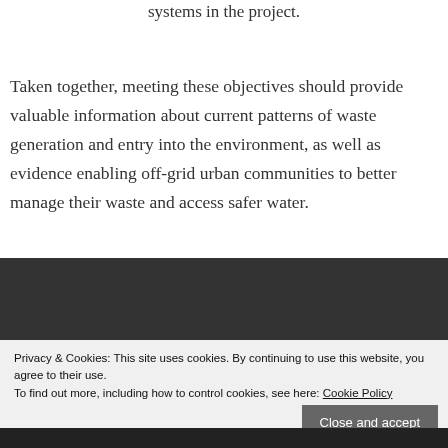systems in the project.
Taken together, meeting these objectives should provide valuable information about current patterns of waste generation and entry into the environment, as well as evidence enabling off-grid urban communities to better manage their waste and access safer water.
©2020 The Water and Waste Research Project website is a part of
Privacy & Cookies: This site uses cookies. By continuing to use this website, you agree to their use.
To find out more, including how to control cookies, see here: Cookie Policy
Close and accept